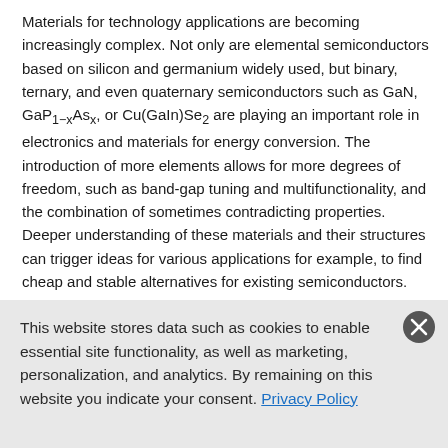Materials for technology applications are becoming increasingly complex. Not only are elemental semiconductors based on silicon and germanium widely used, but binary, ternary, and even quaternary semiconductors such as GaN, GaP1−xAsx, or Cu(GaIn)Se2 are playing an important role in electronics and materials for energy conversion. The introduction of more elements allows for more degrees of freedom, such as band-gap tuning and multifunctionality, and the combination of sometimes contradicting properties. Deeper understanding of these materials and their structures can trigger ideas for various applications for example, to find cheap and stable alternatives for existing semiconductors.
Heusler compounds are a remarkable class of materials that contain several metallic elements in one lattice structure. Their general
This website stores data such as cookies to enable essential site functionality, as well as marketing, personalization, and analytics. By remaining on this website you indicate your consent. Privacy Policy